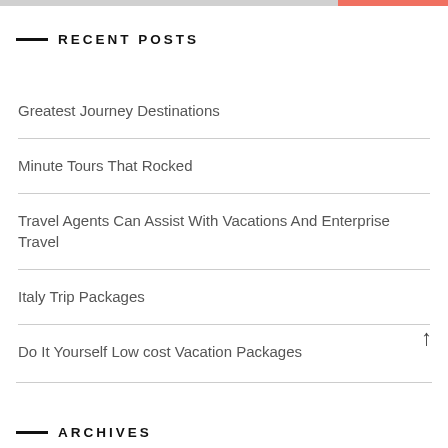RECENT POSTS
Greatest Journey Destinations
Minute Tours That Rocked
Travel Agents Can Assist With Vacations And Enterprise Travel
Italy Trip Packages
Do It Yourself Low cost Vacation Packages
ARCHIVES